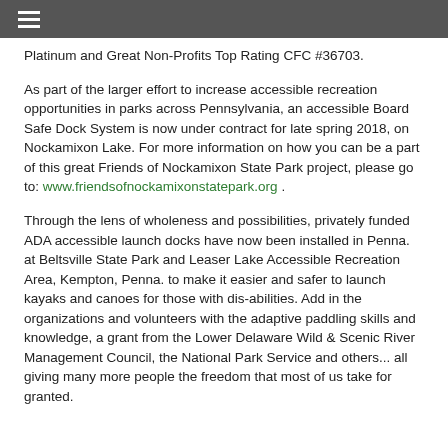≡
Platinum and Great Non-Profits Top Rating CFC #36703.
As part of the larger effort to increase accessible recreation opportunities in parks across Pennsylvania, an accessible Board Safe Dock System is now under contract for late spring 2018, on Nockamixon Lake. For more information on how you can be a part of this great Friends of Nockamixon State Park project, please go to: www.friendsofnockamixonstatepark.org .
Through the lens of wholeness and possibilities, privately funded ADA accessible launch docks have now been installed in Penna. at Beltsville State Park and Leaser Lake Accessible Recreation Area, Kempton, Penna. to make it easier and safer to launch kayaks and canoes for those with dis-abilities. Add in the organizations and volunteers with the adaptive paddling skills and knowledge, a grant from the Lower Delaware Wild & Scenic River Management Council, the National Park Service and others... all giving many more people the freedom that most of us take for granted.